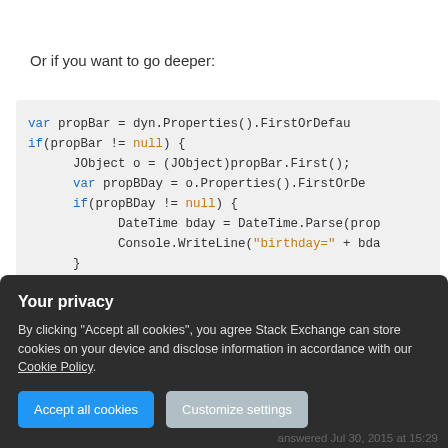Or if you want to go deeper:
[Figure (screenshot): Code block showing C# code for parsing a birthday property using JObject with syntax highlighting. Keywords in blue, null in orange, string in orange-yellow, comment in green.]
Your privacy
By clicking "Accept all cookies", you agree Stack Exchange can store cookies on your device and disclose information in accordance with our Cookie Policy.
Accept all cookies   Customize settings
answered Jul 30, 2015 at 15:29